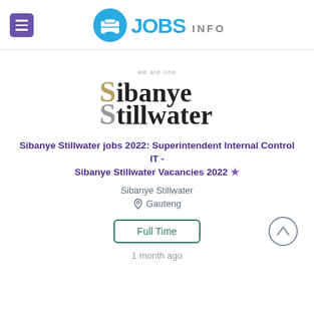JOBS INFO
[Figure (logo): Sibanye Stillwater company logo with 'we are one' tagline]
Sibanye Stillwater jobs 2022: Superintendent Internal Control IT - Sibanye Stillwater Vacancies 2022 ★
Sibanye Stillwater
Gauteng
Full Time
1 month ago